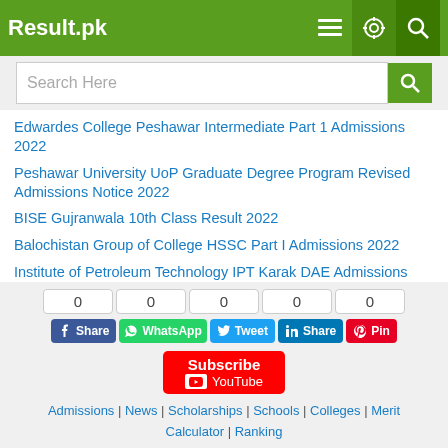Result.pk
Search Here
Edwardes College Peshawar Intermediate Part 1 Admissions 2022
Peshawar University UoP Graduate Degree Program Revised Admissions Notice 2022
BISE Gujranwala 10th Class Result 2022
Balochistan Group of College HSSC Part I Admissions 2022
Institute of Petroleum Technology IPT Karak DAE Admissions 2022
JSMU MSPH Final Term Exam Datesheet 2022
0 | 0 | 0 | 0 | 0
Share | WhatsApp | Tweet | Share | Pin
Subscribe YouTube
Admissions | News | Scholarships | Schools | Colleges | Merit Calculator | Ranking